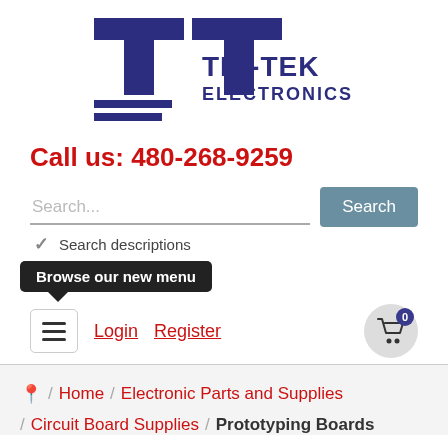[Figure (logo): Tri-Tek Electronics logo with stylized T shape and horizontal lines, navy blue color]
Call us: 480-268-9259
Search...
Search
Search descriptions
Browse our new menu
Login  Register
0
/ Home / Electronic Parts and Supplies
/ Circuit Board Supplies / Prototyping Boards